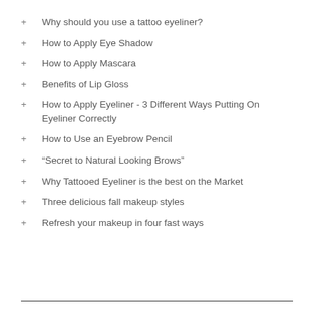+ Why should you use a tattoo eyeliner?
+ How to Apply Eye Shadow
+ How to Apply Mascara
+ Benefits of Lip Gloss
+ How to Apply Eyeliner - 3 Different Ways Putting On Eyeliner Correctly
+ How to Use an Eyebrow Pencil
+ “Secret to Natural Looking Brows”
+ Why Tattooed Eyeliner is the best on the Market
+ Three delicious fall makeup styles
+ Refresh your makeup in four fast ways